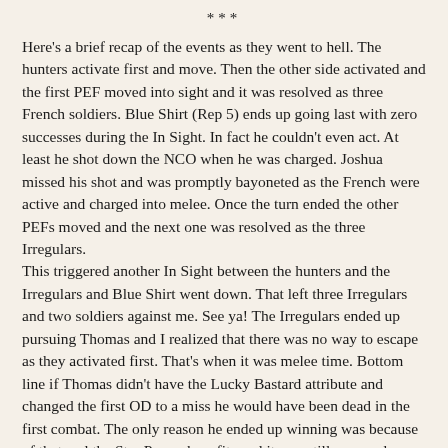***
Here's a brief recap of the events as they went to hell. The hunters activate first and move. Then the other side activated and the first PEF moved into sight and it was resolved as three French soldiers. Blue Shirt (Rep 5) ends up going last with zero successes during the In Sight.  In fact he couldn't even act. At least he shot down the NCO when he was charged. Joshua missed his shot and was promptly bayoneted as the French were active and charged into melee.  Once the turn ended the other PEFs moved and the next one was resolved as the three Irregulars.
This triggered another In Sight between the hunters and the Irregulars and Blue Shirt went down.  That left three Irregulars and two soldiers against me. See ya! The Irregulars ended up pursuing Thomas and I realized that there was no way to escape as they activated first. That's when it was melee time. Bottom line if Thomas didn't have the Lucky Bastard attribute and changed the first OD to a miss he would have been dead in the first combat. The only reason he ended up winning was because of that and the Star Power benefits and it was still a very close fight.
It made sense that Thomas could go after them and rolling on the After the Battle Table left Joshua dead and Blue Shirt recovered enough to move. I switched to a Hunt Encounter and used the